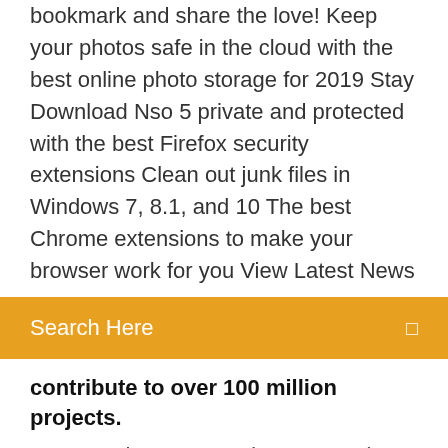bookmark and share the love! Keep your photos safe in the cloud with the best online photo storage for 2019 Stay Download Nso 5 private and protected with the best Firefox security extensions Clean out junk files in Windows 7, 8.1, and 10 The best Chrome extensions to make your browser work for you View Latest News
Search Here
contribute to over 100 million projects.
2.27.0 Release Notes (2020-06-01) Download Source Code GUI Clients Git comes with built-in GUI tools ( git-gui , gitk ), but there are several third-party tools for users looking for a platform-specific experience. 1. Giveaway of the Day. Giveaway of the Day is the most popular website to Canon Imagerunner Ir3235i Driver Download Windows 7 get Canon Imagerunner Ir3235i Driver Download Windows 7 the paid software free for 10+ years now. It highlights multiple programs on its front page